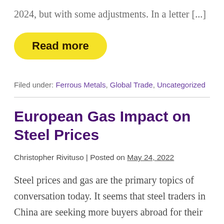2024, but with some adjustments. In a letter [...]
Read more
Filed under: Ferrous Metals, Global Trade, Uncategorized
European Gas Impact on Steel Prices
Christopher Rivituso | Posted on May 24, 2022
Steel prices and gas are the primary topics of conversation today. It seems that steel traders in China are seeking more buyers abroad for their finished steel products. Meanwhile,